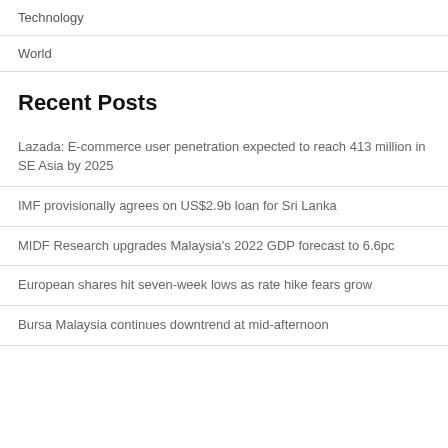Technology
World
Recent Posts
Lazada: E-commerce user penetration expected to reach 413 million in SE Asia by 2025
IMF provisionally agrees on US$2.9b loan for Sri Lanka
MIDF Research upgrades Malaysia's 2022 GDP forecast to 6.6pc
European shares hit seven-week lows as rate hike fears grow
Bursa Malaysia continues downtrend at mid-afternoon